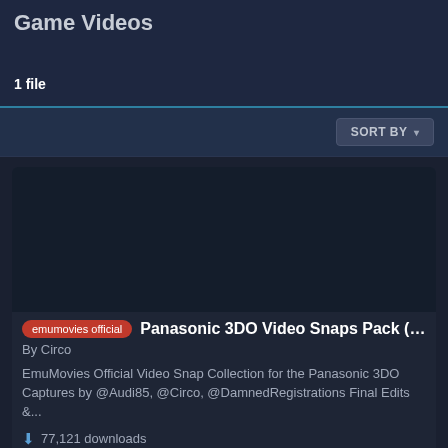Game Videos
1 file
SORT BY
[Figure (screenshot): Dark thumbnail placeholder for video snaps pack]
emumovies official  Panasonic 3DO Video Snaps Pack (SQ)
By Circo
EmuMovies Official Video Snap Collection for the Panasonic 3DO Captures by @Audi85, @Circo, @DamnedRegistrations Final Edits &...
77,121 downloads